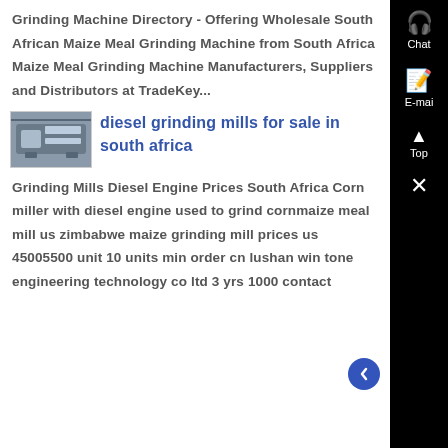Grinding Machine Directory - Offering Wholesale South African Maize Meal Grinding Machine from South Africa Maize Meal Grinding Machine Manufacturers, Suppliers and Distributors at TradeKey...
[Figure (photo): Thumbnail image of a diesel grinding mill machine, showing metallic components]
diesel grinding mills for sale in south africa
Grinding Mills Diesel Engine Prices South Africa Corn miller with diesel engine used to grind cornmaize meal mill us zimbabwe maize grinding mill prices us 45005500 unit 10 units min order cn lushan win tone engineering technology co ltd 3 yrs 1000 contact